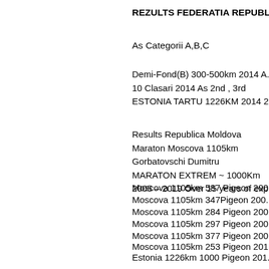REZULTS FEDERATIA REPUBL...
As Categorii A,B,C
Demi-Fond(B) 300-500km 2014 A...
10 Clasari 2014 As 2nd , 3rd
ESTONIA TARTU 1226KM 2014 2...
Results Republica Moldova
Maraton Moscova 1105km
Gorbatovschi Dumitru
MARATON EXTREM ~ 1000Km
2005 – 2019 Over 15 years of exp...
Moscova 1105km 587 Pigeon 200...
Moscova 1105km 347Pigeon 200...
Moscova 1105km 284 Pigeon 200...
Moscova 1105km 297 Pigeon 200...
Moscova 1105km 377 Pigeon 200...
Moscova 1105km 253 Pigeon 201...
Estonia 1226km 1000 Pigeon 201...
Tartu 1205km 342 Pigeons 2015 ...
Tartu 1205km 277 Pigeons 2016 ...
Seta 1100km 312 Pigeons 2017 7...
Tartu 1205km 289 Pigeons 2018 ...